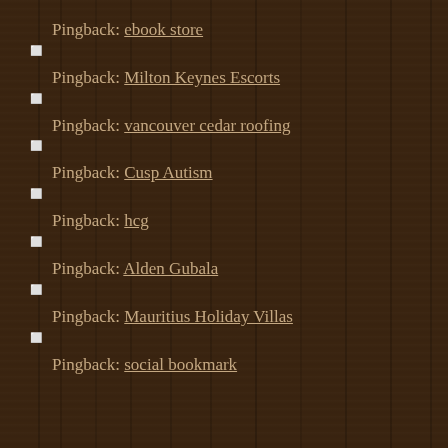Pingback: ebook store
Pingback: Milton Keynes Escorts
Pingback: vancouver cedar roofing
Pingback: Cusp Autism
Pingback: hcg
Pingback: Alden Gubala
Pingback: Mauritius Holiday Villas
Pingback: social bookmark